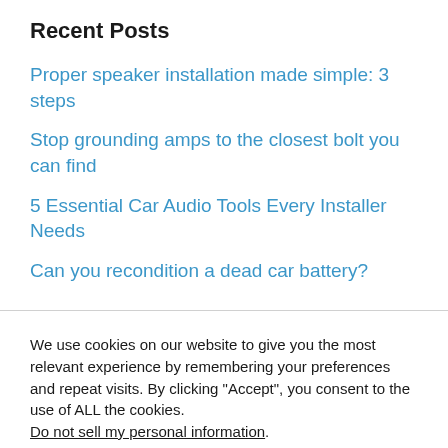Recent Posts
Proper speaker installation made simple: 3 steps
Stop grounding amps to the closest bolt you can find
5 Essential Car Audio Tools Every Installer Needs
Can you recondition a dead car battery?
We use cookies on our website to give you the most relevant experience by remembering your preferences and repeat visits. By clicking “Accept”, you consent to the use of ALL the cookies. Do not sell my personal information.
Cookie settings   ACCEPT